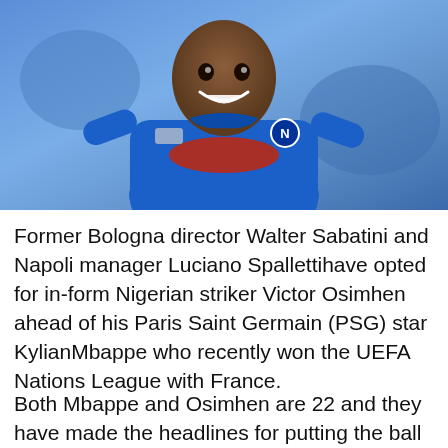[Figure (photo): A football player wearing a blue Napoli jersey with 'Lepo' sponsor, smiling, photographed during a match.]
Former Bologna director Walter Sabatini and Napoli manager Luciano Spallettihave opted for in-form Nigerian striker Victor Osimhen ahead of his Paris Saint Germain (PSG) star KylianMbappe who recently won the UEFA Nations League with France.
Both Mbappe and Osimhen are 22 and they have made the headlines for putting the ball in the back of the net consistently this